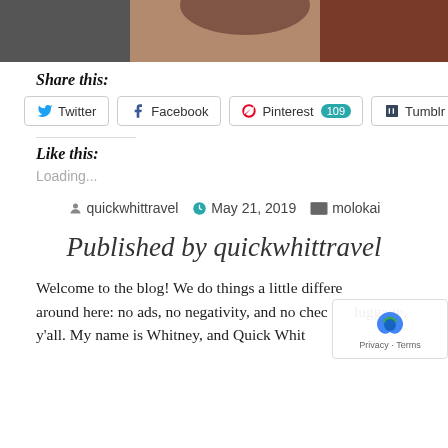[Figure (photo): Partial photo of a person wearing red clothing, with hair visible, cropped at the top of the page]
Share this:
Twitter  Facebook  Pinterest 109  Tumblr
Like this:
Loading...
quickwhittravel   May 21, 2019   molokai
Published by quickwhittravel
Welcome to the blog! We do things a little differently around here: no ads, no negativity, and no checked luggage, y'all. My name is Whitney, and Quick Whit